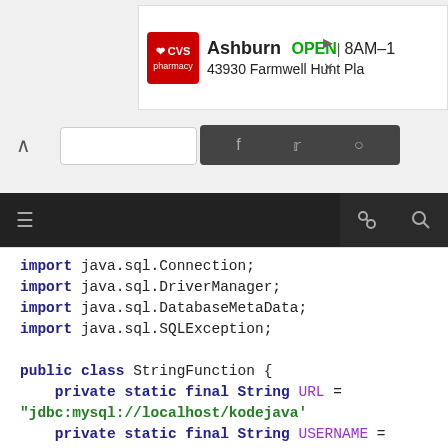[Figure (screenshot): CVS Pharmacy advertisement banner showing Ashburn location OPEN 8AM–1, 43930 Farmwell Hunt Pla]
[Figure (screenshot): Browser navigation bar with up arrow, search box, social media icons on dark background, and dark toolbar with menu and search/share icons]
import java.sql.Connection;
import java.sql.DriverManager;
import java.sql.DatabaseMetaData;
import java.sql.SQLException;

public class StringFunction {
    private static final String URL = "jdbc:mysql://localhost/kodejava'
    private static final String USERNAME = "root";
    private static final String PASSWORD = "";

    public static void main(String[] args) {
        try (Connection connection =
                DriverManager.getConnection(URL, USERNAME, PASSW
        DatabaseMetaData...